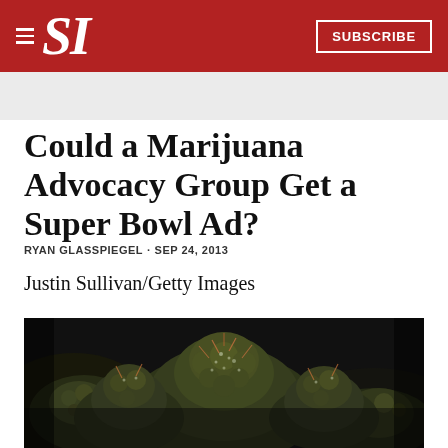SI — SUBSCRIBE
Could a Marijuana Advocacy Group Get a Super Bowl Ad?
RYAN GLASSPIEGEL · SEP 24, 2013
Justin Sullivan/Getty Images
[Figure (photo): Close-up macro photograph of cannabis flower buds against a dark background]